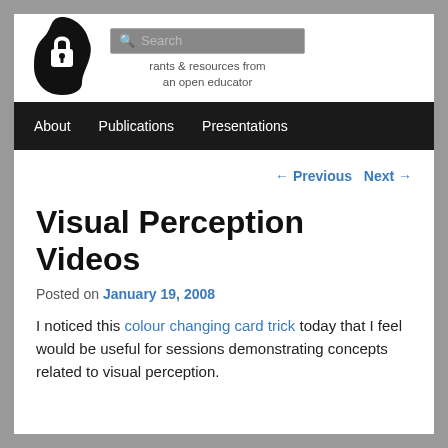[Figure (logo): Open padlock overlaid on a silhouette of a human head facing right, black on white background]
rants & resources from an open educator
About   Publications   Presentations
← Previous   Next →
Visual Perception Videos
Posted on January 19, 2008
I noticed this colour changing card trick today that I feel would be useful for sessions demonstrating concepts related to visual perception.